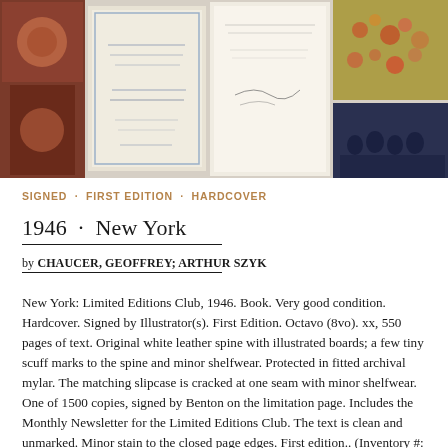[Figure (photo): A horizontal strip of multiple book-related photographs showing illuminated manuscript pages, title pages with signatures, floral decorations, and a group photo of people.]
SIGNED · FIRST EDITION · HARDCOVER
1946 · New York
by CHAUCER, GEOFFREY; ARTHUR SZYK
New York: Limited Editions Club, 1946. Book. Very good condition. Hardcover. Signed by Illustrator(s). First Edition. Octavo (8vo). xx, 550 pages of text. Original white leather spine with illustrated boards; a few tiny scuff marks to the spine and minor shelfwear. Protected in fitted archival mylar. The matching slipcase is cracked at one seam with minor shelfwear. One of 1500 copies, signed by Benton on the limitation page. Includes the Monthly Newsletter for the Limited Editions Club. The text is clean and unmarked. Minor stain to the closed page edges. First edition.. (Inventory #: 018625)